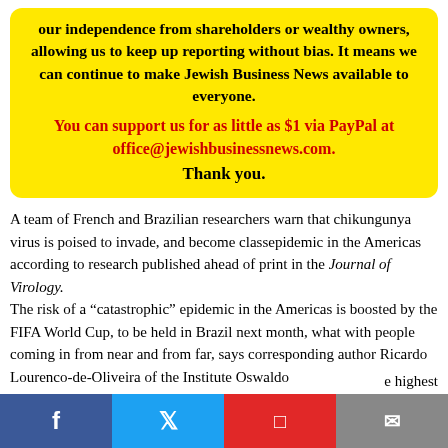our independence from shareholders or wealthy owners, allowing us to keep up reporting without bias. It means we can continue to make Jewish Business News available to everyone.
You can support us for as little as $1 via PayPal at office@jewishbusinessnews.com. Thank you.
A team of French and Brazilian researchers warn that chikungunya virus is poised to invade, and become classepidemic in the Americas according to research published ahead of print in the Journal of Virology.
The risk of a “catastrophic” epidemic in the Americas is boosted by the FIFA World Cup, to be held in Brazil next month, what with people coming in from near and from far, says corresponding author Ricardo Lourenco-de-Oliveira of the Institute Oswaldo
e highest